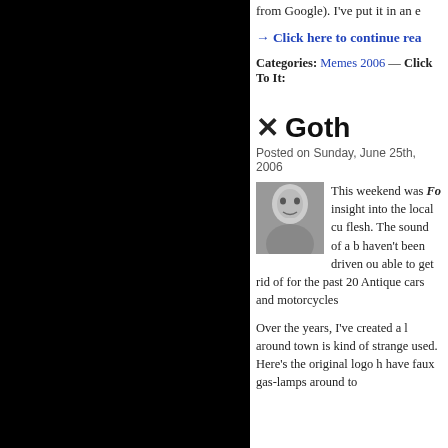from Google). I've put it in an e
→ Click here to continue rea
Categories: Memes 2006 — Click To It:
✕ Goth
Posted on Sunday, June 25th, 2006
[Figure (photo): Black and white portrait photo of a person]
This weekend was Fo insight into the local cu flesh. The sound of a b haven't been driven ou able to get rid of for the past 20 Antique cars and motorcycles
Over the years, I've created a l around town is kind of strange used. Here's the original logo h have faux gas-lamps around to